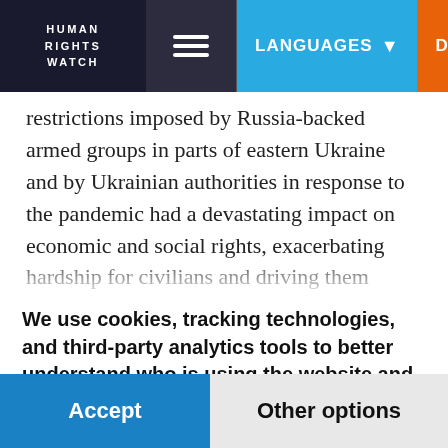HUMAN RIGHTS WATCH | LANGUAGES | DONATE NOW
restrictions imposed by Russia-backed armed groups in parts of eastern Ukraine and by Ukrainian authorities in response to the pandemic had a devastating impact on economic and social rights, exacerbating hardship for civilians and driving them deeper into poverty. Older people, women, children, and people with disabilities were hit the hardest
We use cookies, tracking technologies, and third-party analytics tools to better understand who is using the website and improve your experience. By using our website you are agreeing to this. Read our privacy policy to find out what cookies are used for and how to change your settings.
Accept
Other options